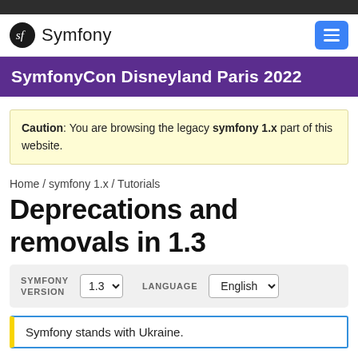Symfony
SymfonyCon Disneyland Paris 2022
Caution: You are browsing the legacy symfony 1.x part of this website.
Home / symfony 1.x / Tutorials
Deprecations and removals in 1.3
SYMFONY VERSION 1.3  LANGUAGE English
Symfony stands with Ukraine.